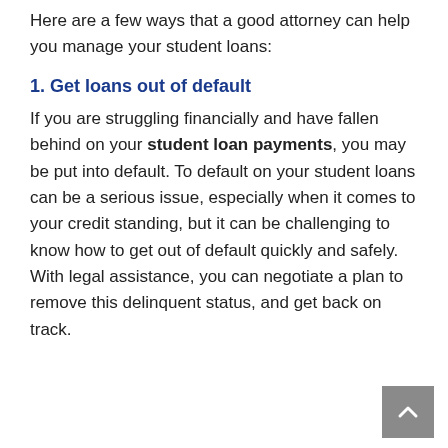Here are a few ways that a good attorney can help you manage your student loans:
1. Get loans out of default
If you are struggling financially and have fallen behind on your student loan payments, you may be put into default. To default on your student loans can be a serious issue, especially when it comes to your credit standing, but it can be challenging to know how to get out of default quickly and safely. With legal assistance, you can negotiate a plan to remove this delinquent status, and get back on track.